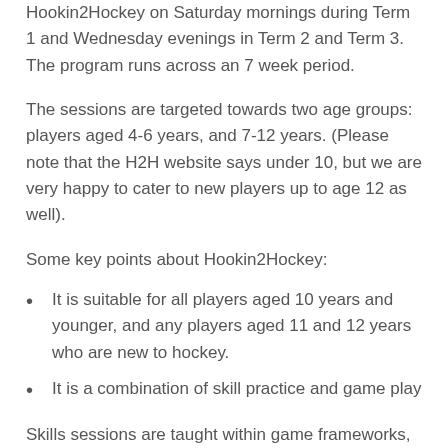Hookin2Hockey on Saturday mornings during Term 1 and Wednesday evenings in Term 2 and Term 3. The program runs across an 7 week period.
The sessions are targeted towards two age groups: players aged 4-6 years, and 7-12 years. (Please note that the H2H website says under 10, but we are very happy to cater to new players up to age 12 as well).
Some key points about Hookin2Hockey:
It is suitable for all players aged 10 years and younger, and any players aged 11 and 12 years who are new to hockey.
It is a combination of skill practice and game play
Skills sessions are taught within game frameworks, and the program generally culminates with a Parents vs Players match!